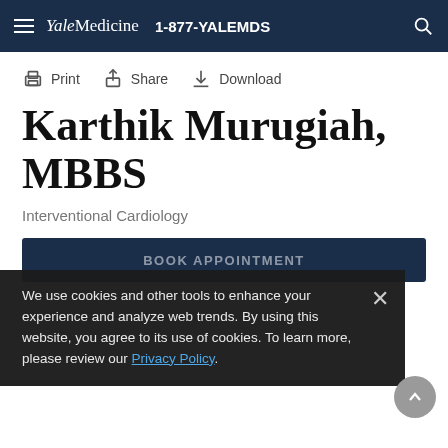Yale Medicine  1-877-YALEMDS
Print  Share  Download
Karthik Murugiah, MBBS
Interventional Cardiology
BOOK APPOINTMENT
We use cookies and other tools to enhance your experience and analyze web trends. By using this website, you agree to its use of cookies. To learn more, please review our Privacy Policy.